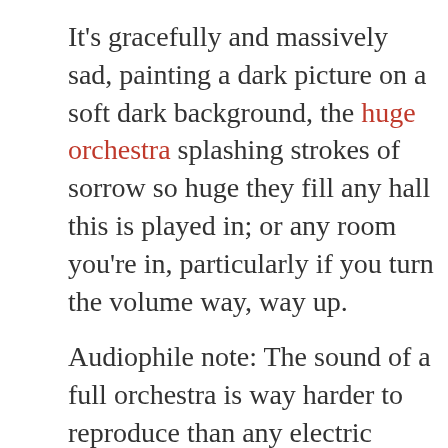It's gracefully and massively sad, painting a dark picture on a soft dark background, the huge orchestra splashing strokes of sorrow so huge they fill any hall this is played in; or any room you're in, particularly if you turn the volume way, way up.

Audiophile note: The sound of a full orchestra is way harder to reproduce than any electric